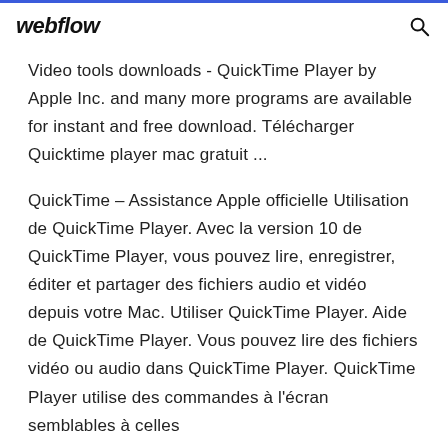webflow
Video tools downloads - QuickTime Player by Apple Inc. and many more programs are available for instant and free download. Télécharger Quicktime player mac gratuit ...
QuickTime – Assistance Apple officielle Utilisation de QuickTime Player. Avec la version 10 de QuickTime Player, vous pouvez lire, enregistrer, éditer et partager des fichiers audio et vidéo depuis votre Mac. Utiliser QuickTime Player. Aide de QuickTime Player. Vous pouvez lire des fichiers vidéo ou audio dans QuickTime Player. QuickTime Player utilise des commandes à l'écran semblables à celles d...